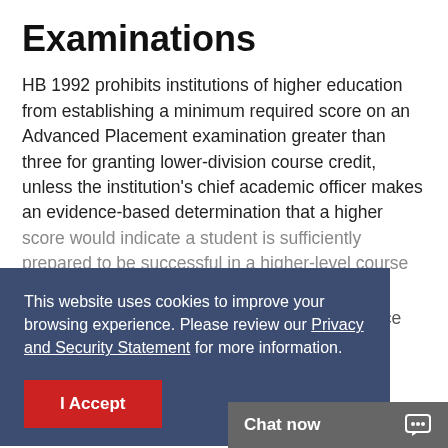Examinations
HB 1992 prohibits institutions of higher education from establishing a minimum required score on an Advanced Placement examination greater than three for granting lower-division course credit, unless the institution's chief academic officer makes an evidence-based determination that a higher score would indicate a student is sufficiently prepared to be successful in a higher-level course for which the examination is a prerequisite.
Credit by Examination from the College Entrance Examination Board (CEEB) will be awarded as follows:
This website uses cookies to improve your browsing experience. Please review our Privacy and Security Statement for more information.
I Accept
Chat now
Credit by Examinati